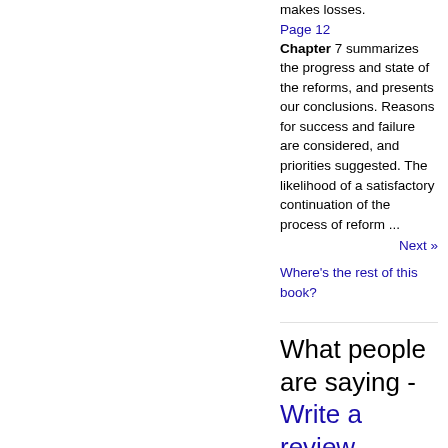makes losses.
Page 12
Chapter 7 summarizes the progress and state of the reforms, and presents our conclusions. Reasons for success and failure are considered, and priorities suggested. The likelihood of a satisfactory continuation of the process of reform ...
Next »
Where's the rest of this book?
What people are saying - Write a review